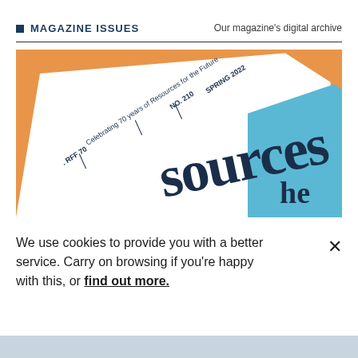MAGAZINE ISSUES — Our magazine's digital archive
[Figure (photo): Angled view of 'Sources' magazine cover showing orange and blue design, with text 'RFF 70', 'Celebrating 70 years of Resources for the Future', 'NO. 210', 'SPRING 2022']
We use cookies to provide you with a better service. Carry on browsing if you're happy with this, or find out more.